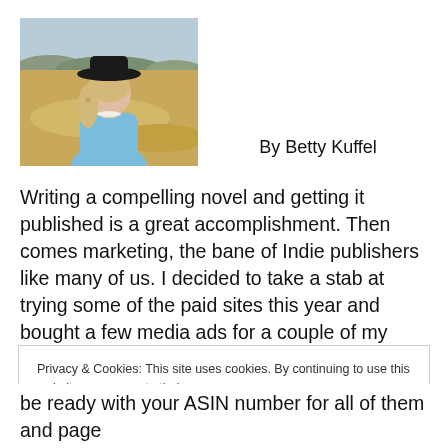[Figure (photo): A woman wearing a black wide-brim hat and light blue top, standing outdoors with a sandy/rocky landscape in the background.]
By Betty Kuffel
Writing a compelling novel and getting it published is a great accomplishment. Then comes marketing, the bane of Indie publishers like many of us. I decided to take a stab at trying some of the paid sites this year and bought a few media ads for a couple of my books. It seemed to take
Privacy & Cookies: This site uses cookies. By continuing to use this website, you agree to their use.
To find out more, including how to control cookies, see here: Cookie Policy
Close and accept
be ready with your ASIN number for all of them and page